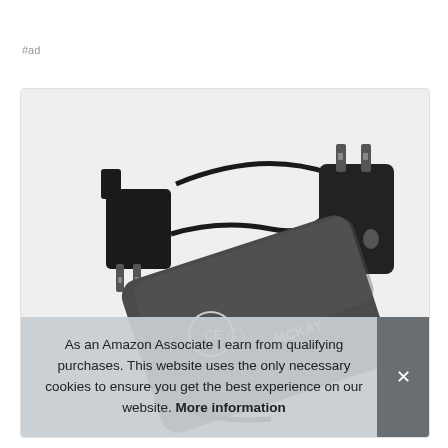#ad
[Figure (photo): Product photo of a McKay brand power adapter/charger with two US plug adapters connected by a black cable, shown on a white/grey background. The main unit is a rectangular dark grey AC adapter with CE and other certification logos visible, and two plug heads are shown — one flat US two-prong style connected via cable on the left, and one figure-8 connector style on the right.]
As an Amazon Associate I earn from qualifying purchases. This website uses the only necessary cookies to ensure you get the best experience on our website. More information